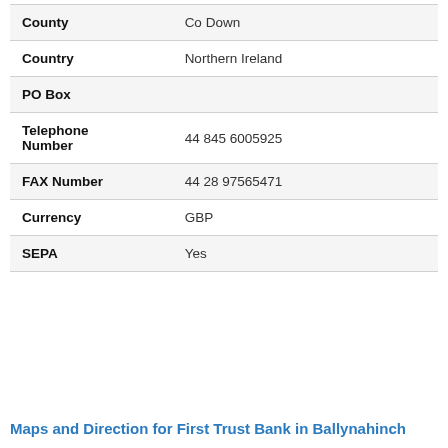| Field | Value |
| --- | --- |
| County | Co Down |
| Country | Northern Ireland |
| PO Box |  |
| Telephone Number | 44 845 6005925 |
| FAX Number | 44 28 97565471 |
| Currency | GBP |
| SEPA | Yes |
Maps and Direction for First Trust Bank in Ballynahinch